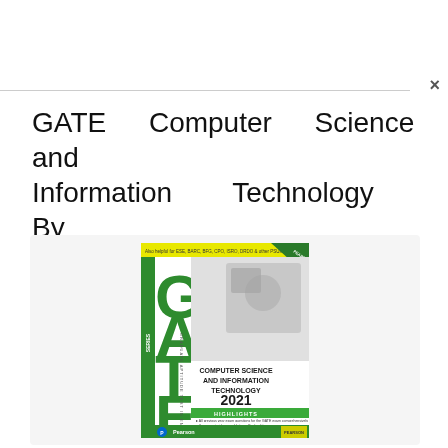GATE Computer Science and Information Technology By Pearson
[Figure (illustration): Book cover of 'GATE Computer Science and Information Technology 2021' by Pearson. The cover features the large green text 'GATE', with 'GRADUATE APTITUDE TEST IN ENGINEERING' written vertically. It shows a 'COMPUTER SCIENCE AND INFORMATION TECHNOLOGY 2021' label and highlights bullet points. The Pearson logo appears at the bottom left. There is a green banner at the top and green/teal accents throughout.]